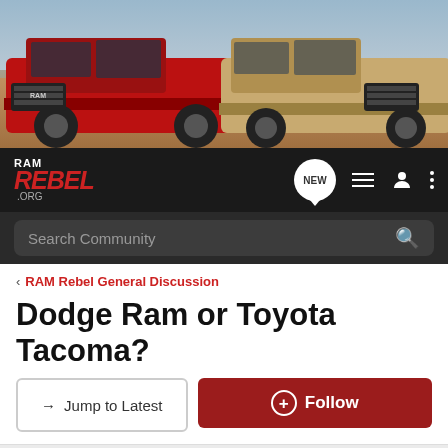[Figure (photo): Hero banner showing two RAM Rebel trucks on a dirt trail outdoors — a red truck on the left and a tan/beige truck on the right.]
RAM REBEL .ORG — Navigation bar with NEW, list, user, and menu icons, and a Search Community search bar
< RAM Rebel General Discussion
Dodge Ram or Toyota Tacoma?
→ Jump to Latest    ⊕ Follow
1 - 7 of 7 Posts
Rumble · Registered
Joined Mar 8, 2017 · 1 Posts